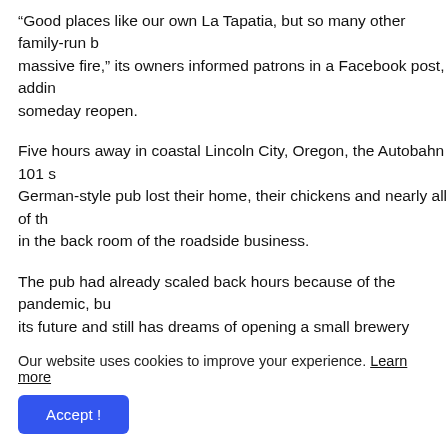“Good places like our own La Tapatia, but so many other family-run b… massive fire,” its owners informed patrons in a Facebook post, addin… someday reopen.
Five hours away in coastal Lincoln City, Oregon, the Autobahn 101 s… German-style pub lost their home, their chickens and nearly all of th… in the back room of the roadside business.
The pub had already scaled back hours because of the pandemic, bu… its future and still has dreams of opening a small brewery inside a s…
“We’re getting back on our feet,” said Baker, who temporarily reopen… electricity and discarding food that spoiled after days without power…
Our website uses cookies to improve your experience. Learn more
Accept !